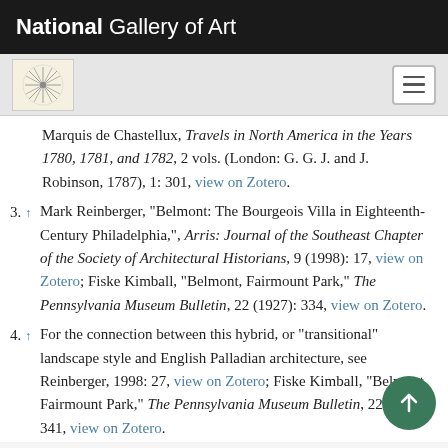National Gallery of Art
Marquis de Chastellux, Travels in North America in the Years 1780, 1781, and 1782, 2 vols. (London: G. G. J. and J. Robinson, 1787), 1: 301, view on Zotero.
3. ↑ Mark Reinberger, "Belmont: The Bourgeois Villa in Eighteenth-Century Philadelphia,", Arris: Journal of the Southeast Chapter of the Society of Architectural Historians, 9 (1998): 17, view on Zotero; Fiske Kimball, "Belmont, Fairmount Park," The Pennsylvania Museum Bulletin, 22 (1927): 334, view on Zotero.
4. ↑ For the connection between this hybrid, or "transitional" landscape style and English Palladian architecture, see Reinberger, 1998: 27, view on Zotero; Fiske Kimball, "Belmont, Fairmount Park," The Pennsylvania Museum Bulletin, 22 (1927): 341, view on Zotero.